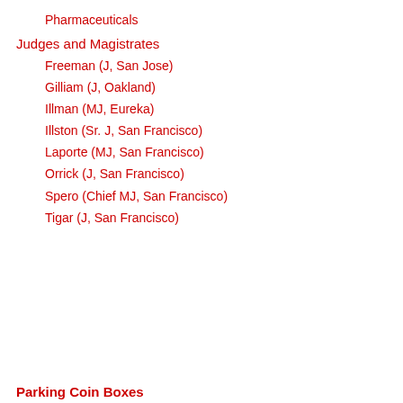Pharmaceuticals
Judges and Magistrates
Freeman (J, San Jose)
Gilliam (J, Oakland)
Illman (MJ, Eureka)
Illston (Sr. J, San Francisco)
Laporte (MJ, San Francisco)
Orrick (J, San Francisco)
Spero (Chief MJ, San Francisco)
Tigar (J, San Francisco)
Parking Coin Boxes